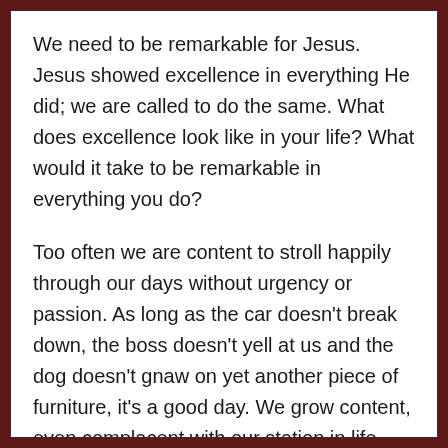We need to be remarkable for Jesus. Jesus showed excellence in everything He did; we are called to do the same. What does excellence look like in your life? What would it take to be remarkable in everything you do?
Too often we are content to stroll happily through our days without urgency or passion. As long as the car doesn't break down, the boss doesn't yell at us and the dog doesn't gnaw on yet another piece of furniture, it's a good day. We grow content, even complacent with our station in life. We take for granted the car, the house, the food, even the family that God has blessed us with and entrusted into our care. Life